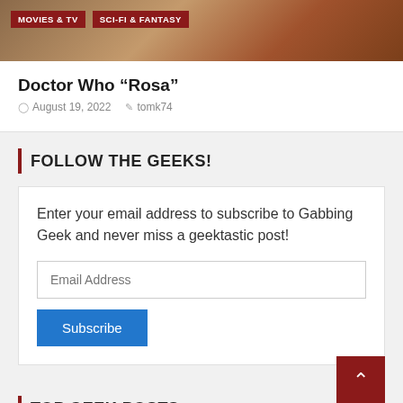[Figure (photo): Top portion of a webpage showing a brownish/tan background image with two category tags: MOVIES & TV and SCI-FI & FANTASY in dark red]
Doctor Who “Rosa”
August 19, 2022  tomk74
FOLLOW THE GEEKS!
Enter your email address to subscribe to Gabbing Geek and never miss a geektastic post!
Email Address
Subscribe
TOP GEEK POSTS